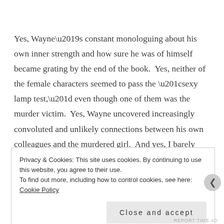Yes, Wayne's constant monologuing about his own inner strength and how sure he was of himself became grating by the end of the book.  Yes, neither of the female characters seemed to pass the “sexy lamp test,” even though one of them was the murder victim.  Yes, Wayne uncovered increasingly convoluted and unlikely connections between his own colleagues and the murdered girl.  And yes, I barely rooted for any of the ensemble besides a side character, a forensic detective (such as you could be in the 1940s) named Jub.
Privacy & Cookies: This site uses cookies. By continuing to use this website, you agree to their use.
To find out more, including how to control cookies, see here: Cookie Policy
Close and accept